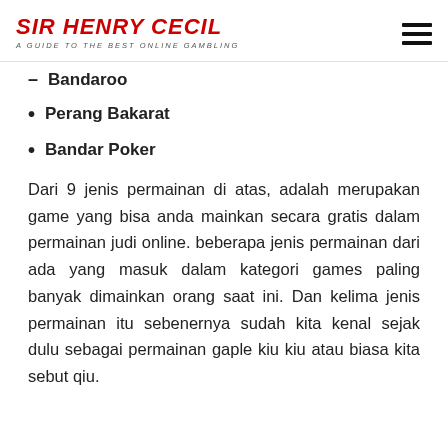SIR HENRY CECIL — A GUIDE TO THE BEST ONLINE GAMBLING
Bandaroo
Perang Bakarat
Bandar Poker
Dari 9 jenis permainan di atas, adalah merupakan game yang bisa anda mainkan secara gratis dalam permainan judi online. beberapa jenis permainan dari ada yang masuk dalam kategori games paling banyak dimainkan orang saat ini. Dan kelima jenis permainan itu sebenernya sudah kita kenal sejak dulu sebagai permainan gaple kiu kiu atau biasa kita sebut qiu.